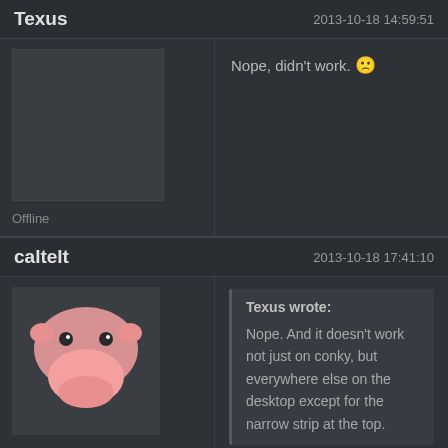Texus   2013-10-18 14:59:51
Nope, didn't work. 😐
Offline
caltelt   2013-10-18 17:41:10
Texus wrote:
Nope. And it doesn't work not just on conky, but everywhere else on the desktop except for the narrow strip at the top.
If you kill conky does it work?
Offline
mbomboom   2013-10-18 17:54:14